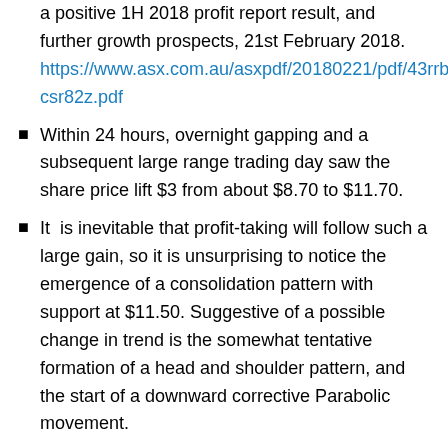a positive 1H 2018 profit report result, and further growth prospects, 21st February 2018. https://www.asx.com.au/asxpdf/20180221/pdf/43rrbkhkcsr82z.pdf
Within 24 hours, overnight gapping and a subsequent large range trading day saw the share price lift $3 from about $8.70 to $11.70.
It is inevitable that profit-taking will follow such a large gain, so it is unsurprising to notice the emergence of a consolidation pattern with support at $11.50. Suggestive of a possible change in trend is the somewhat tentative formation of a head and shoulder pattern, and the start of a downward corrective Parabolic movement.
The RSI is presently trending lower after entering the over-bought zone above 70%. Further drifting of the share-price, reverting to the mean, would seem likely